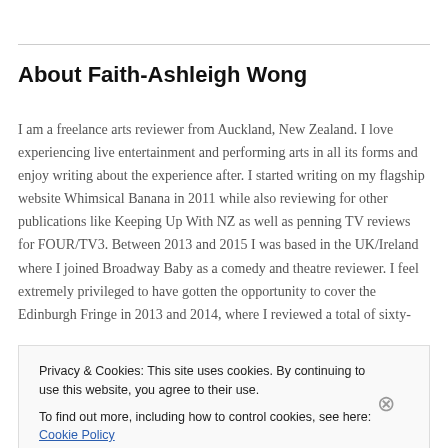About Faith-Ashleigh Wong
I am a freelance arts reviewer from Auckland, New Zealand. I love experiencing live entertainment and performing arts in all its forms and enjoy writing about the experience after. I started writing on my flagship website Whimsical Banana in 2011 while also reviewing for other publications like Keeping Up With NZ as well as penning TV reviews for FOUR/TV3. Between 2013 and 2015 I was based in the UK/Ireland where I joined Broadway Baby as a comedy and theatre reviewer. I feel extremely privileged to have gotten the opportunity to cover the Edinburgh Fringe in 2013 and 2014, where I reviewed a total of sixty-
Privacy & Cookies: This site uses cookies. By continuing to use this website, you agree to their use.
To find out more, including how to control cookies, see here: Cookie Policy